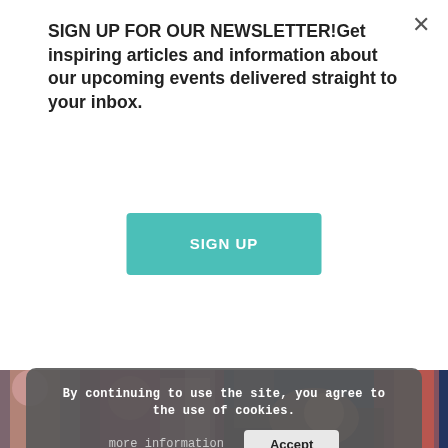SIGN UP FOR OUR NEWSLETTER!Get inspiring articles and information about our upcoming events delivered straight to your inbox.
SIGN UP
[Figure (photo): Two people in pink/dark clothing in an indoor setting, photo rotated sideways]
[Figure (photo): Woman laughing, sitting in a dark interior, photo rotated sideways]
By continuing to use the site, you agree to the use of cookies.
more information
Accept
© 2022 Activate Your Life | Privacy Policy | Designed by Erica Neubauer